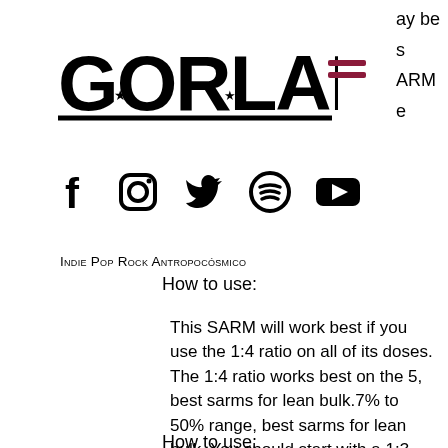ay be
[Figure (logo): Gorlami logo in bold black text with star decorations on the O letters, underlined]
[Figure (other): Hamburger menu icon in dark red/maroon color]
s
ARM
e
[Figure (other): Social media icons: Facebook, Instagram, Twitter, Spotify, YouTube]
Indie Pop Rock Antropocósmico
How to use:
This SARM will work best if you use the 1:4 ratio on all of its doses. The 1:4 ratio works best on the 5, best sarms for lean bulk.7% to 50% range, best sarms for lean bulk. You should start with a 1:3 ratio with your first dose, best sarms for sale uk. You will then increase the volume as you feel you are ready with the 1:4 ratio and then decrease this in half size increments. At this point your stomach will probably start to feel a little harsh, best sarms bulk.
How to use: